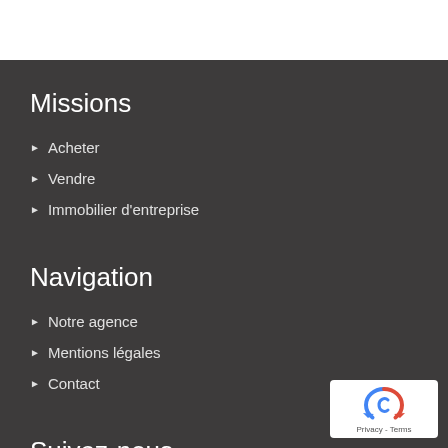Missions
Acheter
Vendre
Immobilier d'entreprise
Navigation
Notre agence
Mentions légales
Contact
Suivez-nous
[Figure (logo): reCAPTCHA badge with circular arrow icon and Privacy - Terms text]